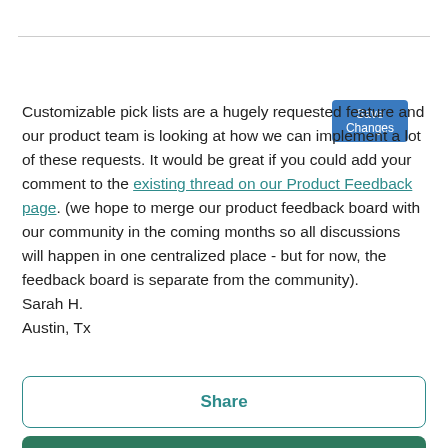[Figure (screenshot): Save Changes button (blue, top right)]
Customizable pick lists are a hugely requested feature and our product team is looking at how we can implement a lot of these requests. It would be great if you could add your comment to the existing thread on our Product Feedback page. (we hope to merge our product feedback board with our community in the coming months so all discussions will happen in one centralized place - but for now, the feedback board is separate from the community).
Sarah H.
Austin, Tx
[Figure (other): 0 Kudos thumbs-up button]
Share
Reply